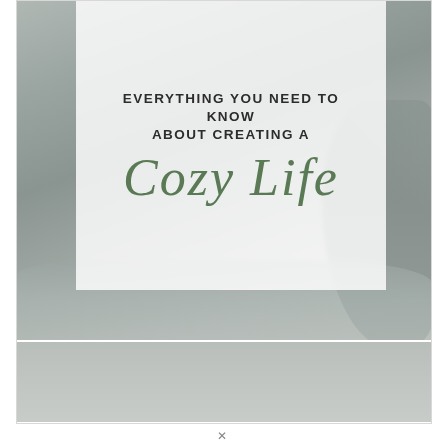[Figure (photo): A grayscale lifestyle photo of soft cozy blankets/bedding with a frosted white overlay card in the upper center. The card contains bold uppercase text 'EVERYTHING YOU NEED TO KNOW ABOUT CREATING A' and large italic script text 'Cozy Life' in sage green. Below the main photo is a second lighter gray photo area.]